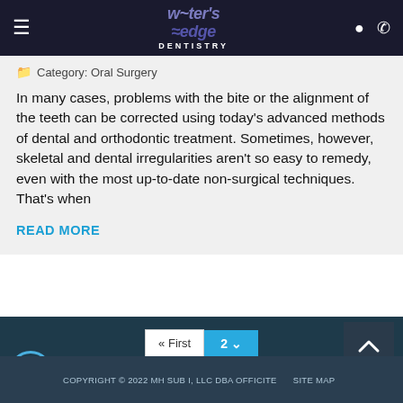Water's Edge Dentistry
Category: Oral Surgery
In many cases, problems with the bite or the alignment of the teeth can be corrected using today's advanced methods of dental and orthodontic treatment. Sometimes, however, skeletal and dental irregularities aren't so easy to remedy, even with the most up-to-date non-surgical techniques. That's when
READ MORE
COPYRIGHT © 2022 MH SUB I, LLC DBA OFFICITE   SITE MAP